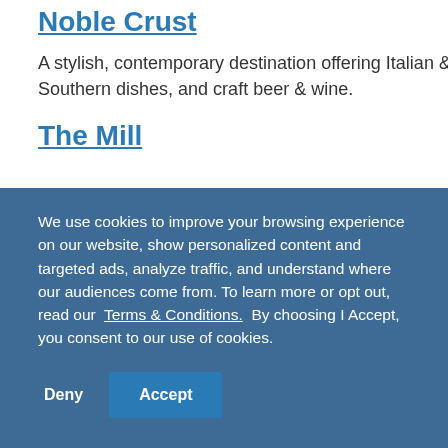Noble Crust
A stylish, contemporary destination offering Italian & Southern dishes, and craft beer & wine.
The Mill
We use cookies to improve your browsing experience on our website, show personalized content and targeted ads, analyze traffic, and understand where our audiences come from. To learn more or opt out, read our Terms & Conditions. By choosing I Accept, you consent to our use of cookies.
Deny
Accept